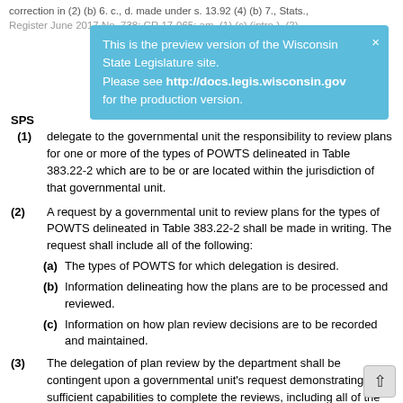correction in (2) (b) 6. c., d. made under s. 13.92 (4) (b) 7., Stats., Register June 2017 No. 738; CR 17-065; am. (1) (c) (intro.), (2)
This is the preview version of the Wisconsin State Legislature site. Please see http://docs.legis.wisconsin.gov for the production version.
SPS
(1) delegate to the governmental unit the responsibility to review plans for one or more of the types of POWTS delineated in Table 383.22-2 which are to be or are located within the jurisdiction of that governmental unit.
(2) A request by a governmental unit to review plans for the types of POWTS delineated in Table 383.22-2 shall be made in writing. The request shall include all of the following:
(a) The types of POWTS for which delegation is desired.
(b) Information delineating how the plans are to be processed and reviewed.
(c) Information on how plan review decisions are to be recorded and maintained.
(3) The delegation of plan review by the department shall be contingent upon a governmental unit's request demonstrating sufficient capabilities to complete the reviews, including all of the following:
(a) The utilization of one or more individuals who are certified by the department as a POWTS inspector to perform the